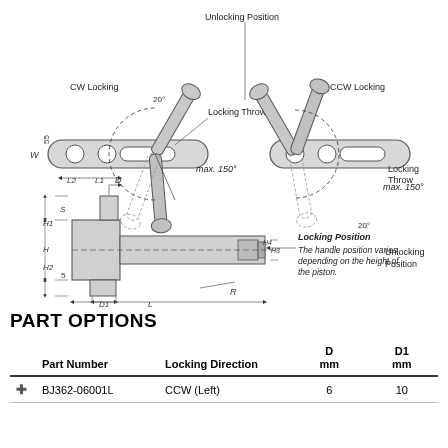[Figure (engineering-diagram): Engineering drawing of a locking handle mechanism showing CW Locking and CCW Locking positions with labeled dimensions (W, L1, L2, R, D, D1, H, H1, H2, H3, H4, S) and annotations for Unlocking Position, Locking Position, Locking Throw (max. 150°), and a note about the Locking Position varying depending on piston height.]
PART OPTIONS
|  | Part Number | Locking Direction | D mm | D1 mm |
| --- | --- | --- | --- | --- |
| ✚ | BJ362-06001L | CCW (Left) | 6 | 10 |